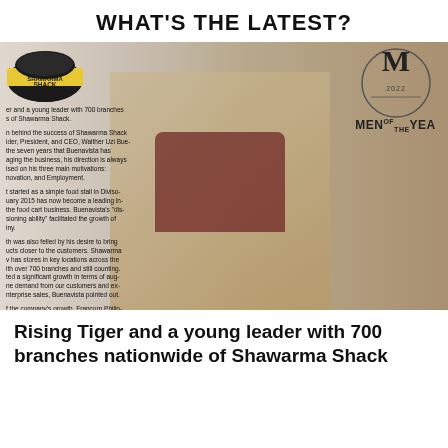WHAT'S THE LATEST?
[Figure (photo): Magazine cover image showing a young man in a patterned blazer over a dark turtleneck. The left side shows The Shawarma Shack logo and article text about Shawarma Shack's growth and 700 branches nationwide. The right side shows the MY Magazine 2022 Men of the Year logo.]
Rising Tiger and a young leader with 700 branches nationwide of Shawarma Shack